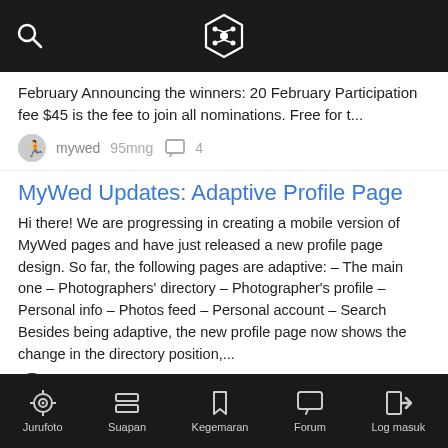MyWed navigation header with search icon and logo
February Announcing the winners: 20 February Participation fee $45 is the fee to join all nominations. Free for t...
mywed   95mng   4
MyWed Updates: Adaptive Profile Page
Hi there! We are progressing in creating a mobile version of MyWed pages and have just released a new profile page design. So far, the following pages are adaptive: – The main one – Photographers' directory – Photographer's profile – Personal info – Photos feed – Personal account – Search Besides being adaptive, the new profile page now shows the change in the directory position,...
mywedteam   142mng   1
Jurufoto   Suapan   Kegemaran   Forum   Log masuk